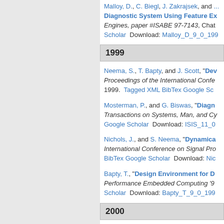Malloy, D., C. Biegl, J. Zakrajsek, and ... "Diagnostic System Using Feature Ex..." Engines, paper #ISABE 97-7143, Chat... Scholar  Download: Malloy_D_9_0_199...
1999
Neema, S., T. Bapty, and J. Scott, "Dev..." Proceedings of the International Confe... 1999.  Tagged  XML  BibTex  Google Sc...
Mosterman, P., and G. Biswas, "Diagn..." Transactions on Systems, Man, and Cy... Google Scholar  Download: ISIS_11_0...
Nichols, J., and S. Neema, "Dynamica..." International Conference on Signal Pro... BibTex  Google Scholar  Download: Nic...
Bapty, T., "Design Environment for D..." Performance Embedded Computing '9... Scholar  Download: Bapty_T_9_0_199...
2000
Karsai, G., "Design Tool Integration:..." of Computer Based Systems, Edinbur...